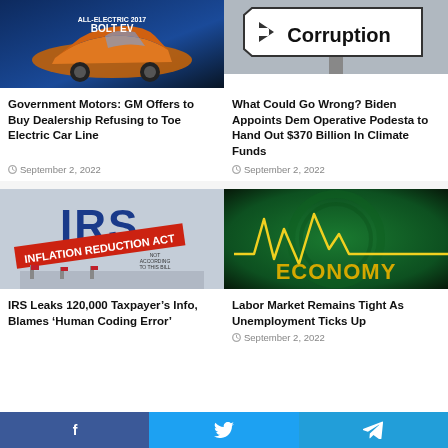[Figure (photo): Orange GM Bolt EV electric car on blue background]
Government Motors: GM Offers to Buy Dealership Refusing to Toe Electric Car Line
September 2, 2022
[Figure (photo): Road sign reading Corruption]
What Could Go Wrong? Biden Appoints Dem Operative Podesta to Hand Out $370 Billion In Climate Funds
September 2, 2022
[Figure (photo): IRS and Inflation Reduction Act editorial cartoon]
IRS Leaks 120,000 Taxpayer’s Info, Blames ‘Human Coding Error’
[Figure (photo): Economy graphic with gold line chart on green background]
Labor Market Remains Tight As Unemployment Ticks Up
September 2, 2022
Facebook  Twitter  Telegram